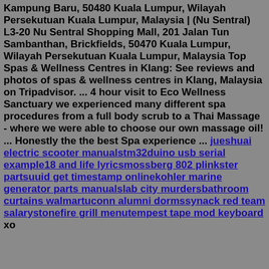Kampung Baru, 50480 Kuala Lumpur, Wilayah Persekutuan Kuala Lumpur, Malaysia | (Nu Sentral) L3-20 Nu Sentral Shopping Mall, 201 Jalan Tun Sambanthan, Brickfields, 50470 Kuala Lumpur, Wilayah Persekutuan Kuala Lumpur, Malaysia Top Spas & Wellness Centres in Klang: See reviews and photos of spas & wellness centres in Klang, Malaysia on Tripadvisor. ... 4 hour visit to Eco Wellness Sanctuary we experienced many different spa procedures from a full body scrub to a Thai Massage - where we were able to choose our own massage oil! ... Honestly the the best Spa experience ... jueshuai electric scooter manualstm32duino usb serial example18 and life lyricsmossberg 802 plinkster partsuuid get timestamp onlinekohler marine generator parts manualslab city murdersbathroom curtains walmartuconn alumni dormssynack red team salarystonefire grill menutempest tape mod keyboard xo